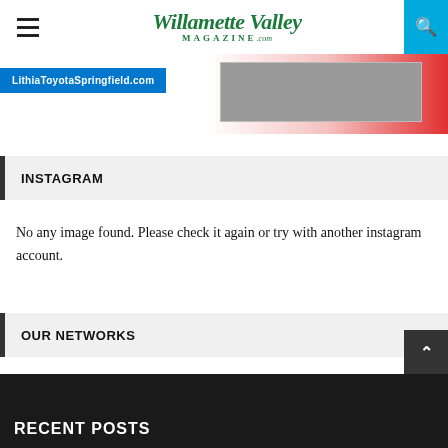Willamette Valley Magazine .com
[Figure (screenshot): Advertisement banner for LithiaToyotaSpringfield.com with blue background text and a car image on red/white gradient background]
INSTAGRAM
No any image found. Please check it again or try with another instagram account.
OUR NETWORKS
RECENT POSTS